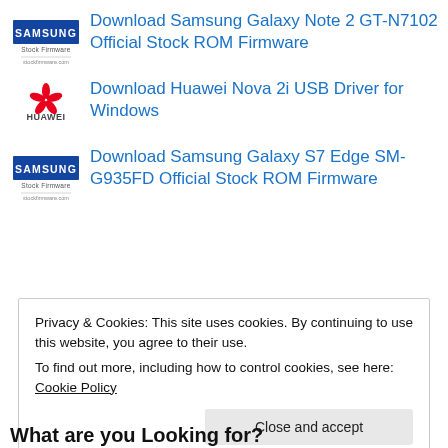Download Samsung Galaxy Note 2 GT-N7102 Official Stock ROM Firmware
Download Huawei Nova 2i USB Driver for Windows
Download Samsung Galaxy S7 Edge SM-G935FD Official Stock ROM Firmware
Privacy & Cookies: This site uses cookies. By continuing to use this website, you agree to their use.
To find out more, including how to control cookies, see here: Cookie Policy
What are you Looking for?